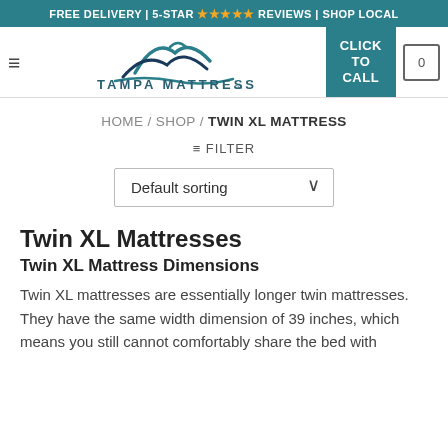FREE DELIVERY | 5-STAR ★★★★★ REVIEWS | SHOP LOCAL
[Figure (logo): Tampa Mattress Co logo with stylized mountain/wave graphic above the text TAMPA MATTRESS co]
CLICK TO CALL
HOME / SHOP / TWIN XL MATTRESS
≡ FILTER
Default sorting
Twin XL Mattresses
Twin XL Mattress Dimensions
Twin XL mattresses are essentially longer twin mattresses. They have the same width dimension of 39 inches, which means you still cannot comfortably share the bed with